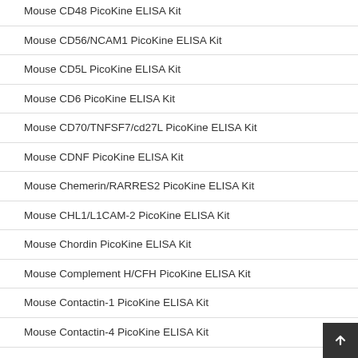Mouse CD48 PicoKine ELISA Kit
Mouse CD56/NCAM1 PicoKine ELISA Kit
Mouse CD5L PicoKine ELISA Kit
Mouse CD6 PicoKine ELISA Kit
Mouse CD70/TNFSF7/cd27L PicoKine ELISA Kit
Mouse CDNF PicoKine ELISA Kit
Mouse Chemerin/RARRES2 PicoKine ELISA Kit
Mouse CHL1/L1CAM-2 PicoKine ELISA Kit
Mouse Chordin PicoKine ELISA Kit
Mouse Complement H/CFH PicoKine ELISA Kit
Mouse Contactin-1 PicoKine ELISA Kit
Mouse Contactin-4 PicoKine ELISA Kit
Mouse Contactin-6 PicoKine ELISA Kit
Mouse Cripto/TDGF1 PicoKine ELISA Kit